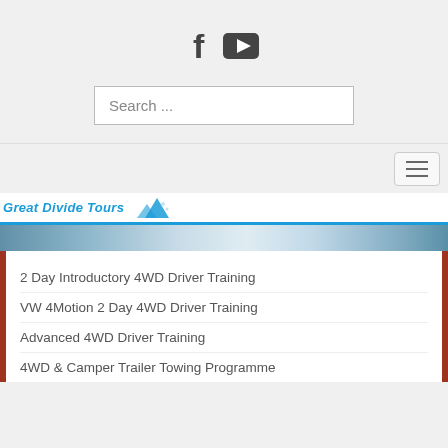[Figure (screenshot): Social media icons: Facebook (f) and YouTube (play button triangle)]
Search ...
[Figure (other): Hamburger navigation toggle button with three horizontal lines]
[Figure (logo): Great Divide Tours logo with italic blue text and mountain graphic]
[Figure (photo): Hero banner image showing a vehicle with blue tones]
2 Day Introductory 4WD Driver Training
VW 4Motion 2 Day 4WD Driver Training
Advanced 4WD Driver Training
4WD & Camper Trailer Towing Programme